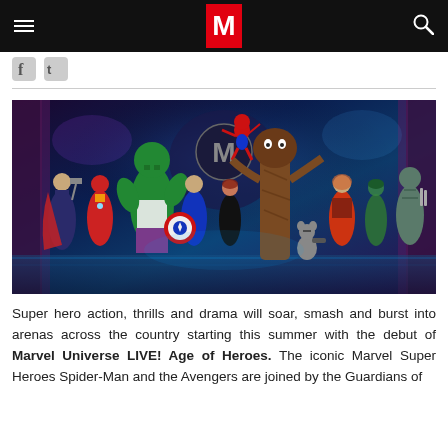M (Marvel Universe LIVE! magazine/news site header)
[Figure (illustration): Promotional illustration of Marvel superheroes including Spider-Man, Hulk, Iron Man, Thor, Captain America, Black Widow, Groot, Rocket Raccoon, Star-Lord, Gamora, and Drax posed together in front of a stylized Marvel Universe LIVE! stage backdrop with the Marvel M logo.]
Super hero action, thrills and drama will soar, smash and burst into arenas across the country starting this summer with the debut of Marvel Universe LIVE! Age of Heroes. The iconic Marvel Super Heroes Spider-Man and the Avengers are joined by the Guardians of